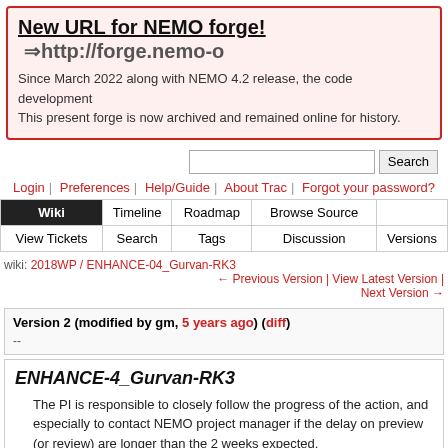New URL for NEMO forge! ⇒http://forge.nemo-o Since March 2022 along with NEMO 4.2 release, the code development This present forge is now archived and remained online for history.
Search
Login | Preferences | Help/Guide | About Trac | Forgot your password?
Wiki | Timeline | Roadmap | Browse Source | View Tickets | Search | Tags | Discussion | Versions
wiki: 2018WP / ENHANCE-04_Gurvan-RK3 ← Previous Version | View Latest Version | Next Version →
Version 2 (modified by gm, 5 years ago) (diff)
--
ENHANCE-4_Gurvan-RK3
The PI is responsible to closely follow the progress of the action, and especially to contact NEMO project manager if the delay on preview (or review) are longer than the 2 weeks expected.
Help